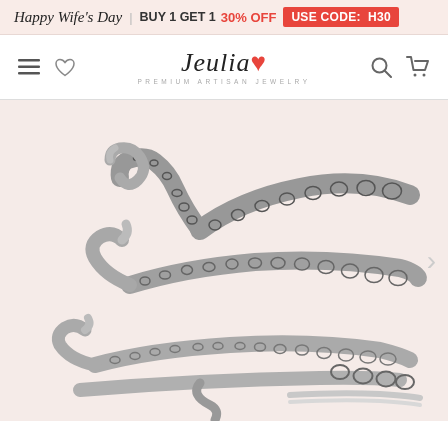Happy Wife's Day | BUY 1 GET 1 30% OFF USE CODE: H30
Jeulia PREMIUM ARTISAN JEWELRY
[Figure (photo): Octopus tentacle wrap ring in sterling silver, showing three tentacle bands with suction cup details spiraling around a finger, photographed on a pale pink background.]